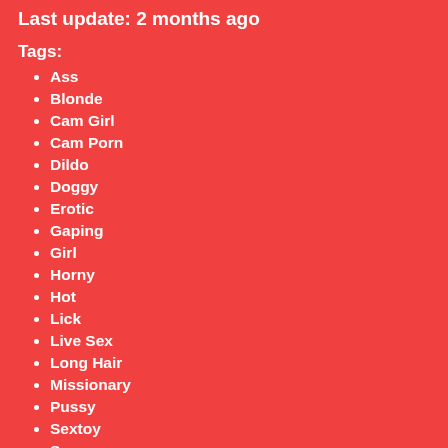Last update: 2 months ago
Tags:
Ass
Blonde
Cam Girl
Cam Porn
Dildo
Doggy
Erotic
Gaping
Girl
Horny
Hot
Lick
Live Sex
Long Hair
Missionary
Pussy
Sextoy
Sexy
Shaved
Solo
Sologirl
Suck
Tattoo
Toy